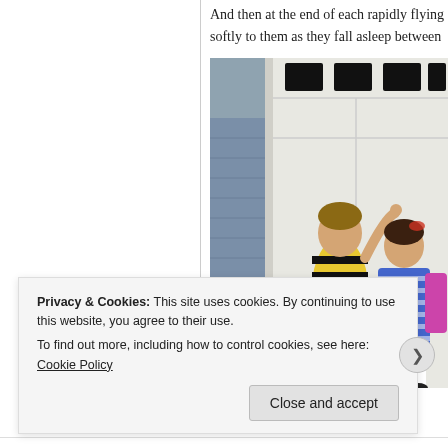And then at the end of each rapidly flying softly to them as they fall asleep between
[Figure (photo): Two children standing in front of a white garage door. One child (boy) in a yellow and black striped shirt is playfully putting bunny ears behind the other child (girl) in a blue striped dress with a backpack.]
Privacy & Cookies: This site uses cookies. By continuing to use this website, you agree to their use.
To find out more, including how to control cookies, see here: Cookie Policy